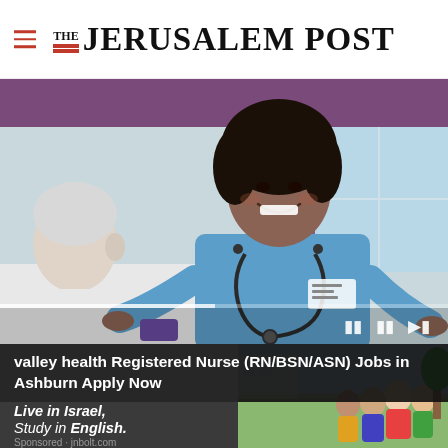THE JERUSALEM POST
[Figure (photo): A smiling female nurse in blue scrubs with a stethoscope attending to an elderly white-haired patient in a medical/home care setting. Purple curtains visible in background.]
valley health Registered Nurse (RN/BSN/ASN) Jobs in Ashburn Apply Now
Live in Israel, Study in English. Sponsored - jnbolt.com